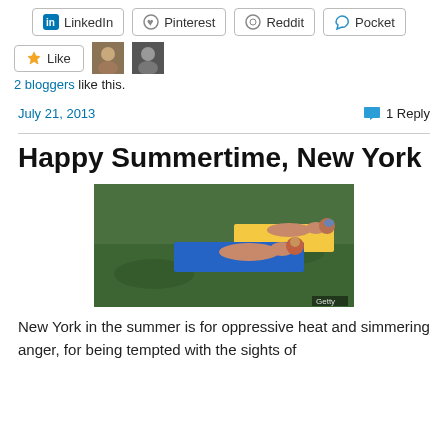[Figure (screenshot): Share buttons row: LinkedIn, Pinterest, Reddit, Pocket]
[Figure (screenshot): Like button with two blogger avatar thumbnails]
2 bloggers like this.
July 21, 2013    1 Reply
Happy Summertime, New York
[Figure (photo): Two women sunbathing on a green grass lawn, lying on towels, Getty image]
New York in the summer is for oppressive heat and simmering anger, for being tempted with the sights of